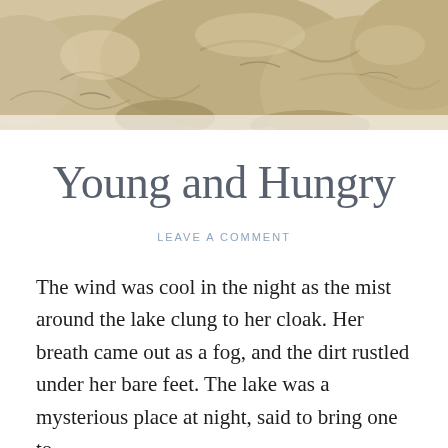[Figure (photo): Sepia-toned photo of large rocks or boulders at the top of the page, serving as a decorative header image.]
Young and Hungry
LEAVE A COMMENT
The wind was cool in the night as the mist around the lake clung to her cloak. Her breath came out as a fog, and the dirt rustled under her bare feet. The lake was a mysterious place at night, said to bring one to …
Continue reading